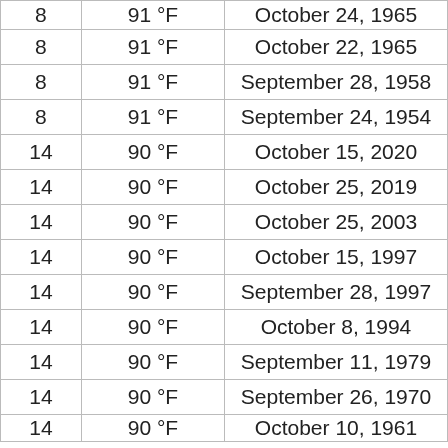| 8 | 91 °F | October 24, 1965 |
| 8 | 91 °F | October 22, 1965 |
| 8 | 91 °F | September 28, 1958 |
| 8 | 91 °F | September 24, 1954 |
| 14 | 90 °F | October 15, 2020 |
| 14 | 90 °F | October 25, 2019 |
| 14 | 90 °F | October 25, 2003 |
| 14 | 90 °F | October 15, 1997 |
| 14 | 90 °F | September 28, 1997 |
| 14 | 90 °F | October 8, 1994 |
| 14 | 90 °F | September 11, 1979 |
| 14 | 90 °F | September 26, 1970 |
| 14 | 90 °F | October 10, 1961 |